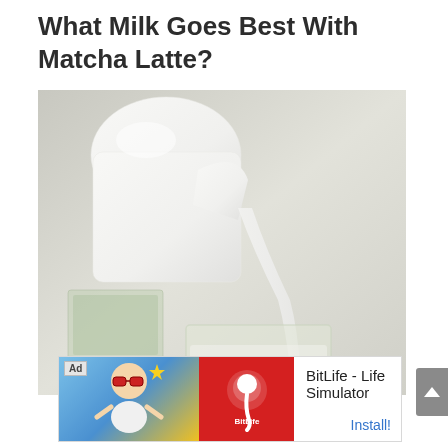What Milk Goes Best With Matcha Latte?
[Figure (photo): A white ceramic pitcher pouring milk into a glass containing matcha latte, with another glass of matcha visible in the background on a light gray surface.]
[Figure (other): Advertisement banner for BitLife - Life Simulator app showing cartoon baby character, BitLife logo in red, and an Install button.]